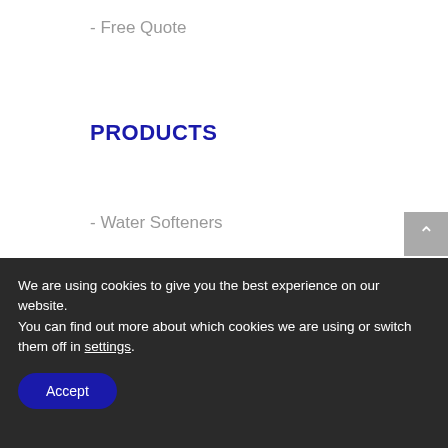- Free Quote
PRODUCTS
- Water Softeners
- Installation Kits
- Water Softener Salt
- Drinking Water Systems
- Taps
We are using cookies to give you the best experience on our website.
You can find out more about which cookies we are using or switch them off in settings.
Accept